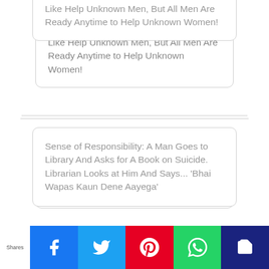The Men Are Very Kind and Women Are Very Selfish. Proof. Most Women Don’t Like Help Unknown Men, But All Men Are Ready Anytime to Help Unknown Women!
Sense of Responsibility: A Man Goes to Library And Asks for A Book on Suicide. Librarian Looks at Him And Says... ‘Bhai Wapas Kaun Dene Aayega’
If Electricity Goes in America, They Call the Power Station. In Japan,
Shares